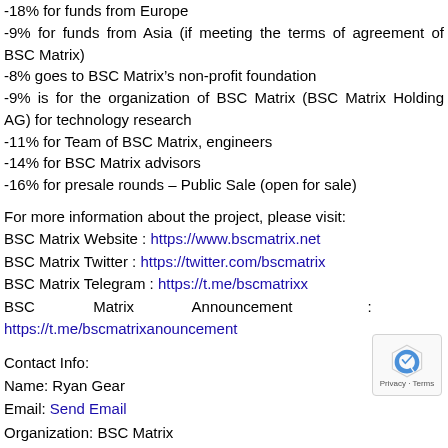-18% for funds from Europe
-9% for funds from Asia (if meeting the terms of agreement of BSC Matrix)
-8% goes to BSC Matrix’s non-profit foundation
-9% is for the organization of BSC Matrix (BSC Matrix Holding AG) for technology research
-11% for Team of BSC Matrix, engineers
-14% for BSC Matrix advisors
-16% for presale rounds – Public Sale (open for sale)
For more information about the project, please visit:
BSC Matrix Website : https://www.bscmatrix.net
BSC Matrix Twitter : https://twitter.com/bscmatrix
BSC Matrix Telegram : https://t.me/bscmatrixx
BSC Matrix Announcement : https://t.me/bscmatrixanouncement
Contact Info:
Name: Ryan Gear
Email: Send Email
Organization: BSC Matrix
Website: https://www.bscmatrix.net/
Release ID: 89039464
This entry was posted in Others on July 31, 2021 by